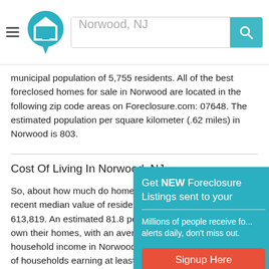Norwood, NJ — search bar header
municipal population of 5,755 residents. All of the best foreclosed homes for sale in Norwood are located in the following zip code areas on Foreclosure.com: 07648. The estimated population per square kilometer (.62 miles) in Norwood is 803.
Cost Of Living In Norwood, NJ
So, about how much do homes cost in Norwood? The most recent median value of resident-owned homes in Norwood is 613,819. An estimated 81.8 percent of Norwood residents own their homes, with an average family size of 3.02. The household income in Norwood is 12... with a percentage of households earning at least $100,... which is great for parents and professionals who are s... in Norwood, the median commute ti... minutes) is 37.7. And last, but certainly not least, are you looking for homes to rent in Norwood? If so, the average rent price paid by renters in Norwood is 1,851, according to recent statistics.
[Figure (infographic): Popup overlay: Get NEW Foreclosure Listings sent to your inbox. Millions of people receive foreclosure alerts daily, don't miss out. Signup Here button. No Thanks | Remind Me Later links.]